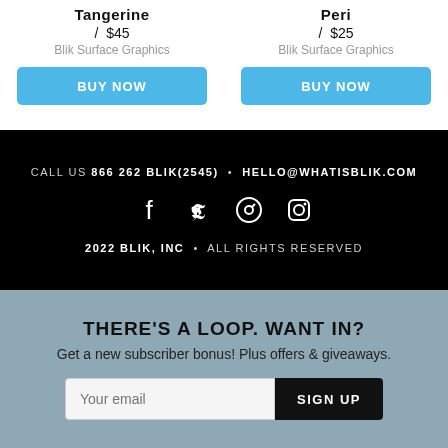Tangerine
/ $45
Blik Surface Graphics
BUY NOW
Peri
/ $25
Blik Surface Graphics
BUY NOW
CALL US 866 262 BLIK(2545) • HELLO@WHATISBLIK.COM
2022 BLIK, INC • ALL RIGHTS RESERVED
THERE'S A LOOP. WANT IN?
Get a new subscriber bonus! Plus offers & giveaways.
Your email
SIGN UP